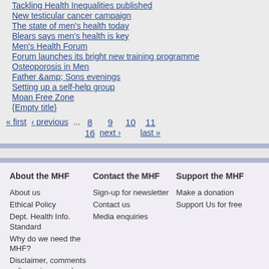Tackling Health Inequalities published
New testicular cancer campaign
The state of men's health today
Blears says men's health is key
Men's Health Forum
Forum launches its bright new training programme
Osteoporosis in Men
Father &amp; Sons evenings
Setting up a self-help group
Moan Free Zone
{Empty title}
« first  ‹ previous  ...  8  9  10  11  16  next ›  last »
About the MHF | Contact the MHF | Support the MHF | About us | Ethical Policy | Dept. Health Info. Standard | Why do we need the MHF? | Disclaimer, comments policy, privacy and copyright | Sign-up for newsletter | Contact us | Media enquiries | Make a donation | Support Us for free